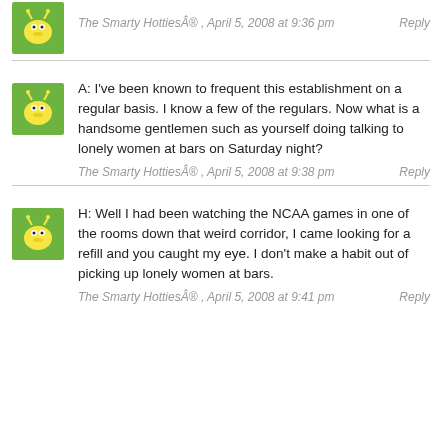[Figure (illustration): Small cartoon avatar of a worm/caterpillar character on a green background, top left]
The Smarty HottiesÂ® , April 5, 2008 at 9:36 pm   Reply
[Figure (illustration): Small cartoon avatar of a worm/caterpillar character on a green background]
A: I've been known to frequent this establishment on a regular basis. I know a few of the regulars. Now what is a handsome gentlemen such as yourself doing talking to lonely women at bars on Saturday night?
The Smarty HottiesÂ® , April 5, 2008 at 9:38 pm   Reply
[Figure (illustration): Small cartoon avatar of a worm/caterpillar character on a green background]
H: Well I had been watching the NCAA games in one of the rooms down that weird corridor, I came looking for a refill and you caught my eye. I don't make a habit out of picking up lonely women at bars.
The Smarty HottiesÂ® , April 5, 2008 at 9:41 pm   Reply